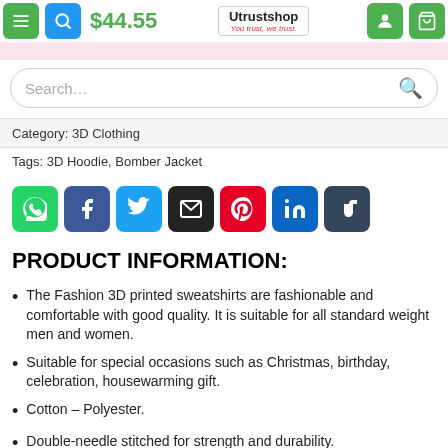Utrustshop – You trust, we trust.
Category: 3D Clothing
Tags: 3D Hoodie, Bomber Jacket
PRODUCT INFORMATION:
The Fashion 3D printed sweatshirts are fashionable and comfortable with good quality. It is suitable for all standard weight men and women.
Suitable for special occasions such as Christmas, birthday, celebration, housewarming gift.
Cotton – Polyester.
Double-needle stitched for strength and durability.